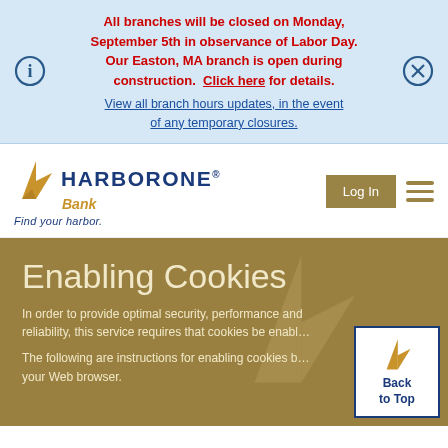All branches will be closed on Monday, September 5th in observance of Labor Day. Our Easton, MA branch is open during construction. Click here for details.
View all branch hours updates, in the event of any temporary closures.
[Figure (logo): HarborOne Bank logo with golden sail icon and tagline 'Find your harbor.']
Log In
Enabling Cookies
In order to provide optimal security, performance and reliability, this service requires that cookies be enabled.
The following are instructions for enabling cookies by your Web browser.
[Figure (logo): Back to Top button with HarborOne sail logo]